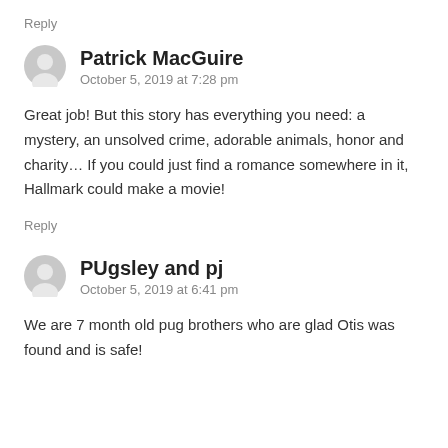Reply
Patrick MacGuire
October 5, 2019 at 7:28 pm
Great job! But this story has everything you need: a mystery, an unsolved crime, adorable animals, honor and charity… If you could just find a romance somewhere in it, Hallmark could make a movie!
Reply
PUgsley and pj
October 5, 2019 at 6:41 pm
We are 7 month old pug brothers who are glad Otis was found and is safe!